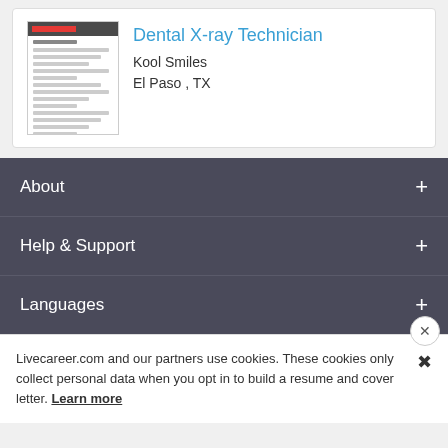[Figure (screenshot): Thumbnail image of a resume document with dark header and text lines]
Dental X-ray Technician
Kool Smiles
El Paso , TX
About
Help & Support
Languages
Livecareer.com and our partners use cookies. These cookies only collect personal data when you opt in to build a resume and cover letter. Learn more